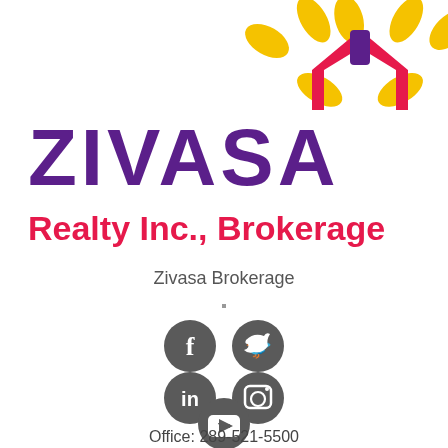[Figure (logo): Zivasa Realty Inc., Brokerage logo with a house/star symbol in yellow, red and purple, and the text ZIVASA in purple and Realty Inc., Brokerage in red/pink]
Zivasa Brokerage
[Figure (infographic): Five social media icons in dark grey circles: Facebook, Twitter, LinkedIn, Instagram, YouTube]
Office: 289-521-5500